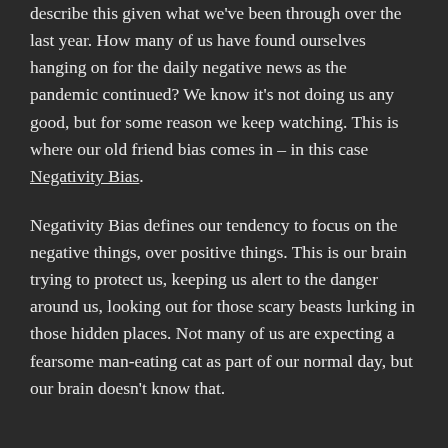describe this given what we've been through over the last year. How many of us have found ourselves hanging on for the daily negative news as the pandemic continued? We know it's not doing us any good, but for some reason we keep watching. This is where our old friend bias comes in – in this case Negativity Bias.
Negativity Bias defines our tendency to focus on the negative things, over positive things. This is our brain trying to protect us, keeping us alert to the danger around us, looking out for those scary beasts lurking in those hidden places. Not many of us are expecting a fearsome man-eating cat as part of our normal day, but our brain doesn't know that.